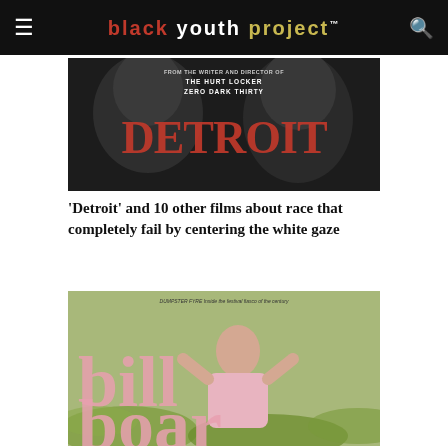black youth project™
[Figure (photo): Detroit movie poster — black and white image of two faces, red 'DETROIT' text in center, 'FROM THE WRITER AND DIRECTOR OF THE HURT LOCKER / ZERO DARK THIRTY' text at top]
'Detroit' and 10 other films about race that completely fail by centering the white gaze
[Figure (photo): Billboard magazine cover — young woman with hands behind head, pink outfit, 'billboard' logo in large pink letters, 'DUMPSTER FYRE Inside the festival fiasco of the century' text at top]